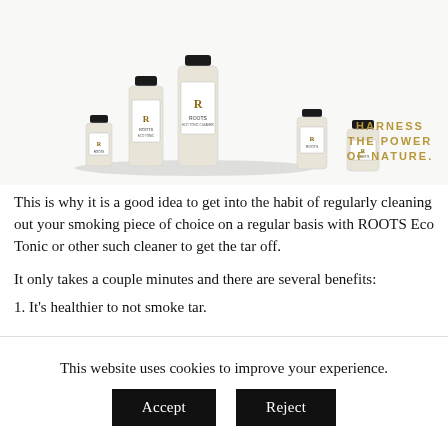[Figure (photo): Multiple ROOTS Eco Tonic product bottles of different sizes arranged together, with text 'HARNESS THE POWER OF NATURE.' in gold on the right side.]
This is why it is a good idea to get into the habit of regularly cleaning out your smoking piece of choice on a regular basis with ROOTS Eco Tonic or other such cleaner to get the tar off.
It only takes a couple minutes and there are several benefits:
1. It's healthier to not smoke tar.
This website uses cookies to improve your experience.